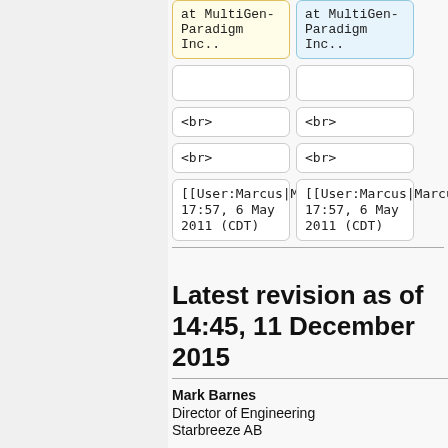| at MultiGen-Paradigm Inc.. | at MultiGen-Paradigm Inc.. |
|  |  |
| <br> | <br> |
| <br> | <br> |
| [[User:Marcus|Marcus]] 17:57, 6 May 2011 (CDT) | [[User:Marcus|Marcus]] 17:57, 6 May 2011 (CDT) |
Latest revision as of 14:45, 11 December 2015
Mark Barnes
Director of Engineering
Starbreeze AB